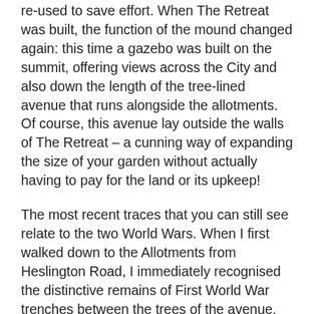re-used to save effort. When The Retreat was built, the function of the mound changed again: this time a gazebo was built on the summit, offering views across the City and also down the length of the tree-lined avenue that runs alongside the allotments. Of course, this avenue lay outside the walls of The Retreat – a cunning way of expanding the size of your garden without actually having to pay for the land or its upkeep!
The most recent traces that you can still see relate to the two World Wars. When I first walked down to the Allotments from Heslington Road, I immediately recognised the distinctive remains of First World War trenches between the trees of the avenue. These may have been sited to fire across the site of the allotments at targets against the Cemetery wall, so don't be surprised if you dig up rifle shells! I have since discovered several more sets of trenches, the most extensive along the boundary of the Barracks. These are not rare: practice trenches were